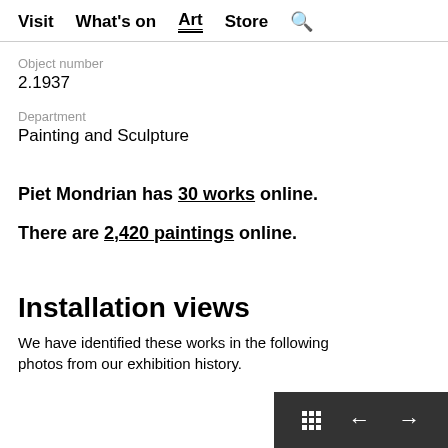Visit  What's on  Art  Store  🔍
Object number
2.1937
Department
Painting and Sculpture
Piet Mondrian has 30 works online.
There are 2,420 paintings online.
Installation views
We have identified these works in the following photos from our exhibition history.